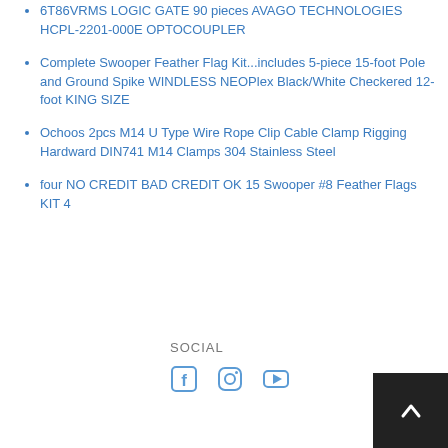6T86VRMS LOGIC GATE 90 pieces AVAGO TECHNOLOGIES HCPL-2201-000E OPTOCOUPLER
Complete Swooper Feather Flag Kit...includes 5-piece 15-foot Pole and Ground Spike WINDLESS NEOPlex Black/White Checkered 12-foot KING SIZE
Ochoos 2pcs M14 U Type Wire Rope Clip Cable Clamp Rigging Hardward DIN741 M14 Clamps 304 Stainless Steel
four NO CREDIT BAD CREDIT OK 15 Swooper #8 Feather Flags KIT 4
SOCIAL
[Figure (other): Social media icons: Facebook, Instagram, YouTube]